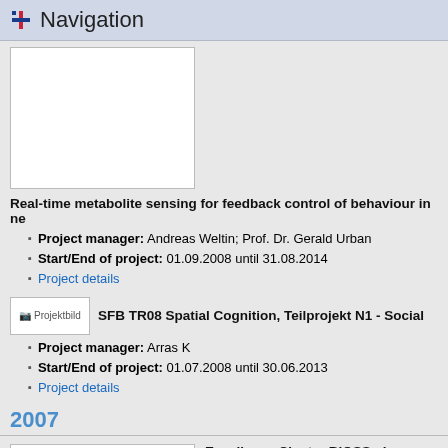Navigation
[Figure (other): White project image placeholder box]
Real-time metabolite sensing for feedback control of behaviour in ne
Project manager: Andreas Weltin; Prof. Dr. Gerald Urban
Start/End of project: 01.09.2008 until 31.08.2014
Project details
[Figure (other): Projektbild thumbnail image]
SFB TR08 Spatial Cognition, Teilprojekt N1 - Social
Project manager: Arras K
Start/End of project: 01.07.2008 until 30.06.2013
Project details
2007
[Figure (other): White project image placeholder box]
Excellence Cluster BIOSS - Image Analy
Project manager: Prof. Thomas Brox
Start/End of project: 01.11.2007 until ?
Project details